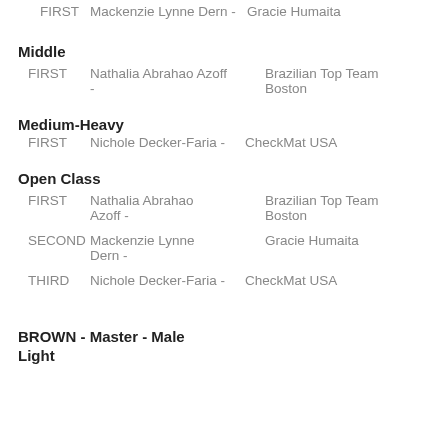FIRST  Mackenzie Lynne Dern -  Gracie Humaita
Middle
FIRST  Nathalia Abrahao Azoff -  Brazilian Top Team Boston
Medium-Heavy
FIRST  Nichole Decker-Faria -  CheckMat USA
Open Class
FIRST  Nathalia Abrahao Azoff -  Brazilian Top Team Boston
SECOND  Mackenzie Lynne Dern -  Gracie Humaita
THIRD  Nichole Decker-Faria -  CheckMat USA
BROWN - Master - Male
Light